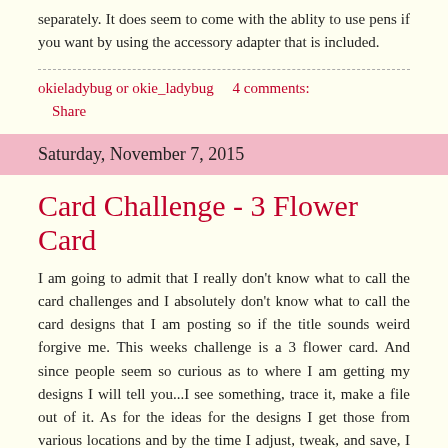separately. It does seem to come with the ablity to use pens if you want by using the accessory adapter that is included.
okieladybug or okie_ladybug    4 comments:
Share
Saturday, November 7, 2015
Card Challenge - 3 Flower Card
I am going to admit that I really don't know what to call the card challenges and I absolutely don't know what to call the card designs that I am posting so if the title sounds weird forgive me. This weeks challenge is a 3 flower card. And since people seem so curious as to where I am getting my designs I will tell you...I see something, trace it, make a file out of it. As for the ideas for the designs I get those from various locations and by the time I adjust, tweak, and save, I honestly can't remember where the